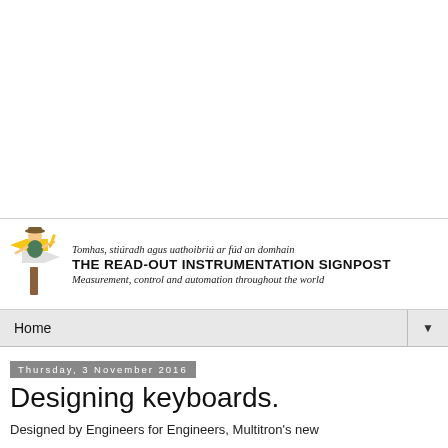[Figure (logo): The Read-Out Instrumentation Signpost logo with illustrated signpost character holding a sign]
Tomhas, stiúradh agus uathoibriú ar fúd an domhain
THE READ-OUT INSTRUMENTATION SIGNPOST
Measurement, control and automation throughout the world
Home ▼
Thursday, 3 November 2016
Designing keyboards.
Designed by Engineers for Engineers, Multitron's new